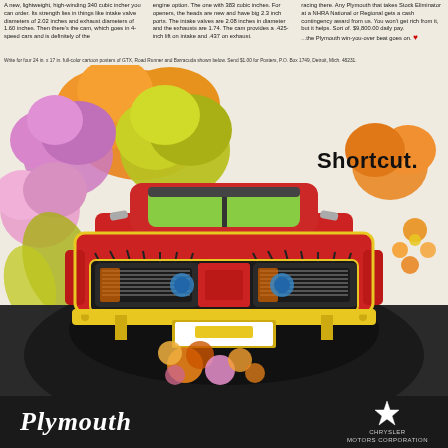A new, lightweight, high-winding 340 cubic incher you can order. Its strength lies in things like intake valve diameters of 2.02 inches and exhaust diameters of 1.60 inches. Then there's the cam, which goes in 4-speed cars and is definitely of the engine option. The one with 383 cubic inches. For openers, the heads are new and have big 2.3 inch ports. The intake valves are 2.08 inches in diameter and the exhausts are 1.74. The cam provides a .425-inch lift on intake and .437 on exhaust. racing there. Any Plymouth that takes Stock Eliminator at a NHRA National or Regional gets a cash contingency award from us. You won't get rich from it, but it helps. Sort of. $9,800.00 daily pay. ...the Plymouth win-you-over beat goes on. ♥
Write for four 24 in. x 17 in. full-color cartoon posters of GTX, Road Runner and Barracuda shown below. Send $1.00 for Posters, P.O. Box 1749, Detroit, Mich. 48231.
[Figure (illustration): Vintage Plymouth (Barracuda) advertisement illustration. A psychedelic, cartoon-style front-view of a red Plymouth Barracuda muscle car with yellow bumper and grille, surrounded by colorful psychedelic smoke/flower clouds in orange, yellow, green, purple, and pink. The car is shown head-on bursting forward with decorative floral elements underneath. The word 'Shortcut.' appears in bold black text to the upper right of the car illustration.]
Plymouth CHRYSLER MOTORS CORPORATION